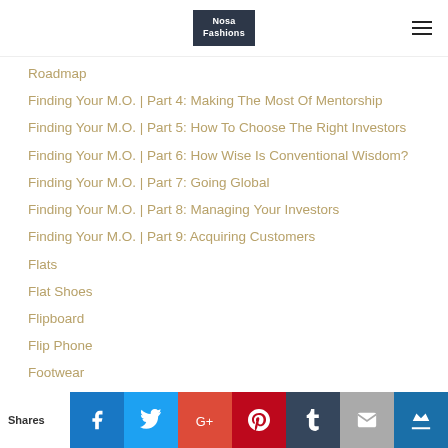Nosa Fashions
Roadmap
Finding Your M.O. | Part 4: Making The Most Of Mentorship
Finding Your M.O. | Part 5: How To Choose The Right Investors
Finding Your M.O. | Part 6: How Wise Is Conventional Wisdom?
Finding Your M.O. | Part 7: Going Global
Finding Your M.O. | Part 8: Managing Your Investors
Finding Your M.O. | Part 9: Acquiring Customers
Flats
Flat Shoes
Flipboard
Flip Phone
Footwear
Shares | Facebook | Twitter | Google+ | Pinterest | Tumblr | Email | Crown